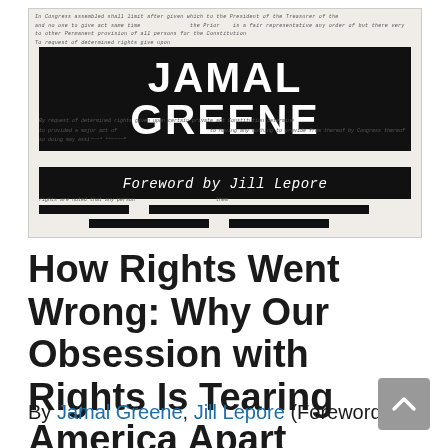[Figure (illustration): Book cover image for 'How Rights Went Wrong' by Jamal Greene, featuring the author's name in large white text on a black bar, with a foreword by Jill Lepore noted, set against a background of handwritten historical document text with redacted black bars.]
How Rights Went Wrong: Why Our Obsession with Rights Is Tearing America Apart (Hardcover)
By Jamal Greene, Jill Lepore (Foreword by)